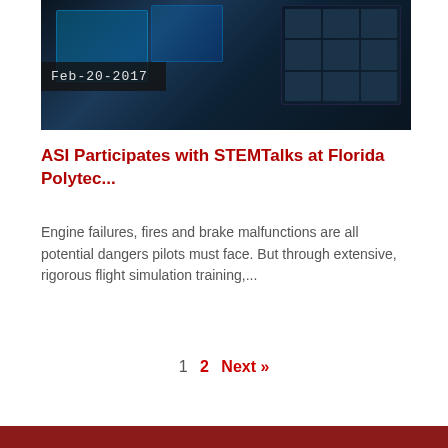[Figure (photo): Dark cockpit/control room photo showing illuminated touchscreen displays and monitoring screens with a date badge overlay reading Feb-20-2017]
ASI Participates with STEMTalks at Florida Polytec...
Engine failures, fires and brake malfunctions are all potential dangers pilots must face. But through extensive, rigorous flight simulation training,...
1  2  Next »